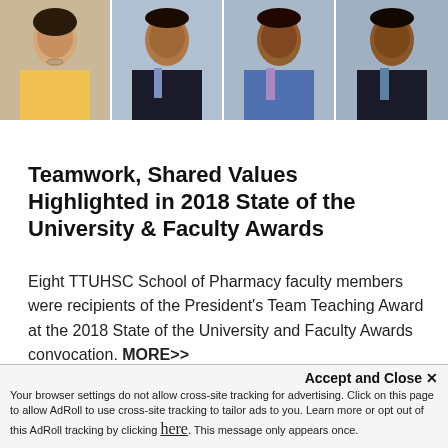[Figure (photo): Strip of four headshot photos of TTUHSC School of Pharmacy faculty members in professional attire against plain backgrounds]
Teamwork, Shared Values Highlighted in 2018 State of the University & Faculty Awards
Eight TTUHSC School of Pharmacy faculty members were recipients of the President's Team Teaching Award at the 2018 State of the University and Faculty Awards convocation. MORE>>
[Figure (photo): Partial bottom photo showing what appears to be an indoor/building scene with warm tan tones]
Accept and Close ✕
Your browser settings do not allow cross-site tracking for advertising. Click on this page to allow AdRoll to use cross-site tracking to tailor ads to you. Learn more or opt out of this AdRoll tracking by clicking here. This message only appears once.